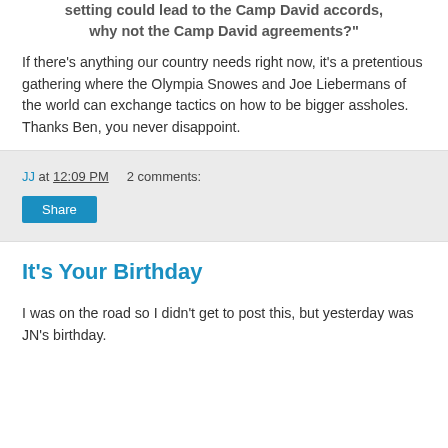setting could lead to the Camp David accords, why not the Camp David agreements?"
If there's anything our country needs right now, it's a pretentious gathering where the Olympia Snowes and Joe Liebermans of the world can exchange tactics on how to be bigger assholes. Thanks Ben, you never disappoint.
JJ at 12:09 PM    2 comments:
Share
It's Your Birthday
I was on the road so I didn't get to post this, but yesterday was JN's birthday.